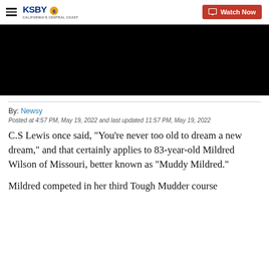KSBY — California's Central Coast | Watch Now
[Figure (screenshot): Black video player embed area]
By: Newsy
Posted at 4:57 PM, May 19, 2022 and last updated 11:57 PM, May 19, 2022
C.S Lewis once said, "You're never too old to dream a new dream," and that certainly applies to 83-year-old Mildred Wilson of Missouri, better known as "Muddy Mildred."
Mildred competed in her third Tough Mudder course